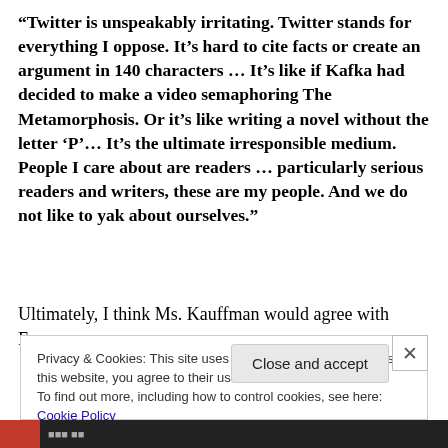“Twitter is unspeakably irritating. Twitter stands for everything I oppose. It’s hard to cite facts or create an argument in 140 characters … It’s like if Kafka had decided to make a video semaphoring The Metamorphosis. Or it’s like writing a novel without the letter ‘P’… It’s the ultimate irresponsible medium. People I care about are readers … particularly serious readers and writers, these are my people. And we do not like to yak about ourselves.”
Ultimately, I think Ms. Kauffman would agree with Franzen
Privacy & Cookies: This site uses cookies. By continuing to use this website, you agree to their use.
To find out more, including how to control cookies, see here: Cookie Policy
Close and accept